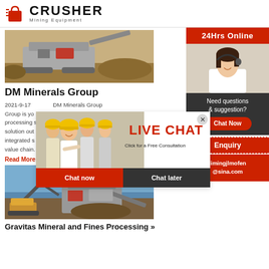[Figure (logo): Crusher Mining Equipment logo with red shopping bag icon]
[Figure (photo): Mining crushing equipment/machinery on a dirt site]
DM Minerals Group
2021-9-17 ... About us DM Minerals Group is your ... processing s... solution out... integrated s... value chain.
Read More
[Figure (photo): Excavator and crushing equipment at a mining site]
Gravitas Mineral and Fines Processing »
[Figure (infographic): Live Chat popup overlay with workers in hard hats background, LIVE CHAT heading, Chat now and Chat later buttons]
24Hrs Online
Need questions & suggestion?
Chat Now
Enquiry
limingjlmofen@sina.com